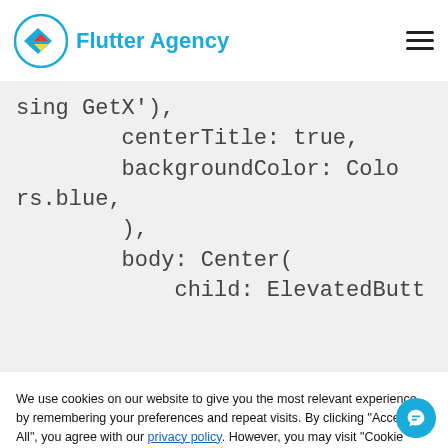Flutter Agency
[Figure (screenshot): Code snippet showing Flutter Dart code with centerTitle: true, backgroundColor: Colors.blue, ), body: Center( child: ElevatedButt]
We use cookies on our website to give you the most relevant experience by remembering your preferences and repeat visits. By clicking "Accept All", you agree with our privacy policy. However, you may visit "Cookie Settings" to provide a controlled consent.